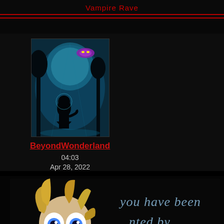Vampire Rave
[Figure (illustration): Dark Alice in Wonderland themed avatar image showing a silhouette of Alice with a glowing teal background and the Cheshire Cat in a tree]
BeyondWonderland
04:03
Apr 28, 2022
[Figure (illustration): Creepy Alice in Wonderland illustration showing a wild-eyed Alice with the Cheshire Cat and red smoke, with cursive text reading 'you have been [visi]ted by']